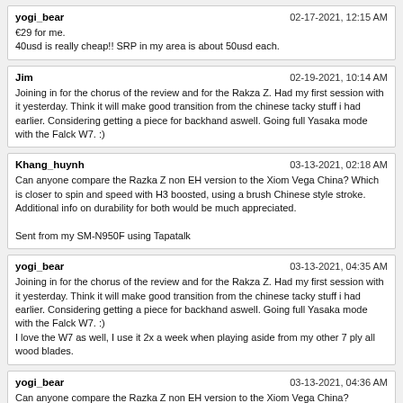yogi_bear | 02-17-2021, 12:15 AM
€29 for me.
40usd is really cheap!! SRP in my area is about 50usd each.
Jim | 02-19-2021, 10:14 AM
Joining in for the chorus of the review and for the Rakza Z. Had my first session with it yesterday. Think it will make good transition from the chinese tacky stuff i had earlier. Considering getting a piece for backhand aswell. Going full Yasaka mode with the Falck W7. :)
Khang_huynh | 03-13-2021, 02:18 AM
Can anyone compare the Razka Z non EH version to the Xiom Vega China? Which is closer to spin and speed with H3 boosted, using a brush Chinese style stroke. Additional info on durability for both would be much appreciated.

Sent from my SM-N950F using Tapatalk
yogi_bear | 03-13-2021, 04:35 AM
Joining in for the chorus of the review and for the Rakza Z. Had my first session with it yesterday. Think it will make good transition from the chinese tacky stuff i had earlier. Considering getting a piece for backhand aswell. Going full Yasaka mode with the Falck W7. :)
I love the W7 as well, I use it 2x a week when playing aside from my other 7 ply all wood blades.
yogi_bear | 03-13-2021, 04:36 AM
Can anyone compare the Razka Z non EH version to the Xiom Vega China?